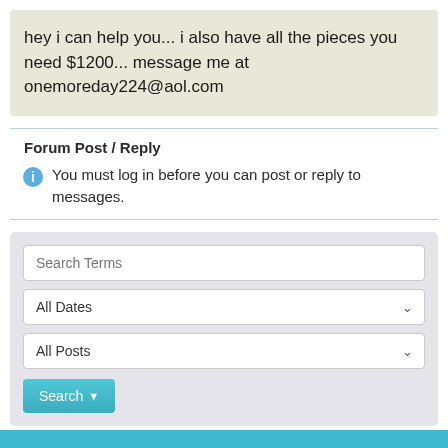hey i can help you... i also have all the pieces you need $1200... message me at onemoreday224@aol.com
Forum Post / Reply
You must log in before you can post or reply to messages.
[Figure (screenshot): Search form with Search Terms input, All Dates dropdown, All Posts dropdown, and a Search button]